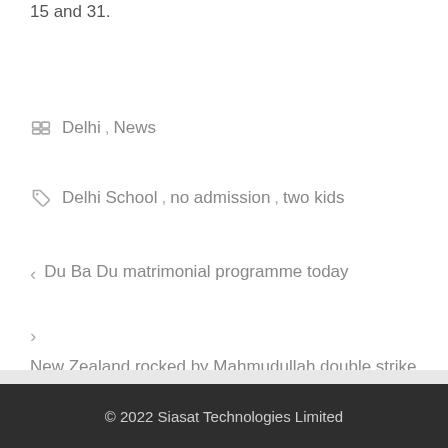15 and 31.
Delhi , News
Delhi School , no admission , two kids
< Du Ba Du matrimonial programme today
> New Zealand rocked by Mahmudullah double strike
© 2022 Siasat Technologies Limited